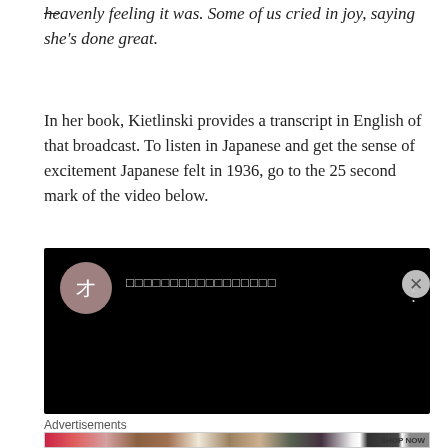heavenly feeling it was. Some of us cried in joy, saying she's done great.
In her book, Kietlinski provides a transcript in English of that broadcast. To listen in Japanese and get the sense of excitement Japanese felt in 1936, go to the 25 second mark of the video below.
[Figure (screenshot): Embedded YouTube-style video player with black background. Shows a circular avatar with Japanese character 'オ', a Japanese text title in gray, and a three-dot menu icon in the upper right. Video content area is black.]
Advertisements
[Figure (photo): Advertisement banner showing beauty/makeup images - lipstick, makeup brush, eye with eyebrow, ULTA Beauty logo, and close-up of eyes, with SHOP NOW call to action.]